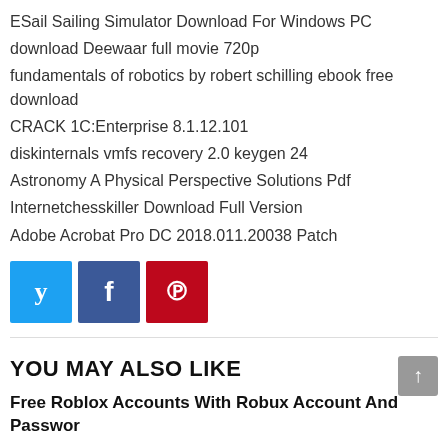ESail Sailing Simulator Download For Windows PC
download Deewaar full movie 720p
fundamentals of robotics by robert schilling ebook free download
CRACK 1C:Enterprise 8.1.12.101
diskinternals vmfs recovery 2.0 keygen 24
Astronomy A Physical Perspective Solutions Pdf
Internetchesskiller Download Full Version
Adobe Acrobat Pro DC 2018.011.20038 Patch
[Figure (infographic): Three social share buttons: Twitter (blue), Facebook (dark blue), Pinterest (red)]
YOU MAY ALSO LIKE
Free Roblox Accounts With Robux Account And Password